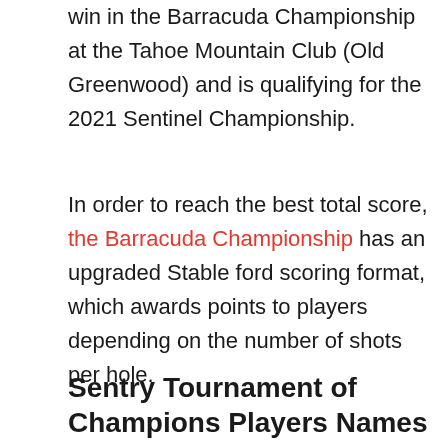win in the Barracuda Championship at the Tahoe Mountain Club (Old Greenwood) and is qualifying for the 2021 Sentinel Championship.
In order to reach the best total score, the Barracuda Championship has an upgraded Stable ford scoring format, which awards points to players depending on the number of shots per hole.
Sentry Tournament of Champions Players Names